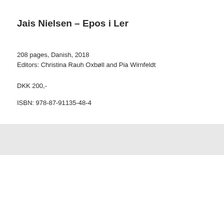Jais Nielsen – Epos i Ler
208 pages, Danish, 2018
Editors: Christina Rauh Oxbøll and Pia Wirnfeldt
DKK 200,-
ISBN: 978-87-91135-48-4
Store Formater – Kloge Hænder
80 pages, Danish, 2017
Editors: Christina Rauh Oxbøll and Pia Wirnfeldt
DKK 50,-
ISBN: 978-87-91135-44-6